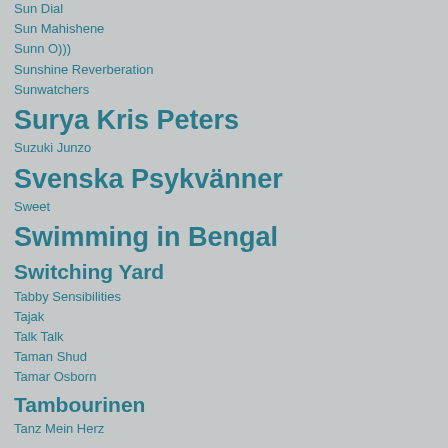Sun Dial
Sun Mahishene
Sunn O)))
Sunshine Reverberation
Sunwatchers
Surya Kris Peters
Suzuki Junzo
Svenska Psykvänner
Sweet
Swimming in Bengal
Switching Yard
Tabby Sensibilities
Tajak
Talk Talk
Taman Shud
Tamar Osborn
Tambourinen
Tanz Mein Herz
Taras Bulba
Taylor Swift
Teeth of the Sea